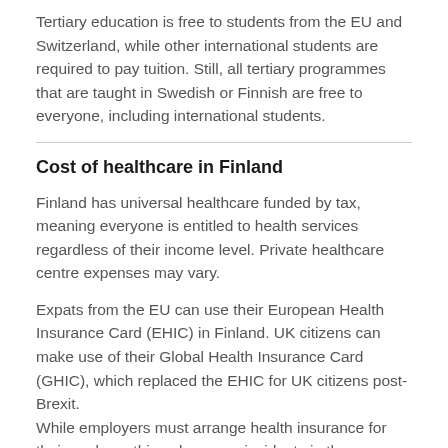Tertiary education is free to students from the EU and Switzerland, while other international students are required to pay tuition. Still, all tertiary programmes that are taught in Swedish or Finnish are free to everyone, including international students.
Cost of healthcare in Finland
Finland has universal healthcare funded by tax, meaning everyone is entitled to health services regardless of their income level. Private healthcare centre expenses may vary.
Expats from the EU can use their European Health Insurance Card (EHIC) in Finland. UK citizens can make use of their Global Health Insurance Card (GHIC), which replaced the EHIC for UK citizens post-Brexit. While employers must arrange health insurance for their workers, this only covers incidents in the workplace itself.